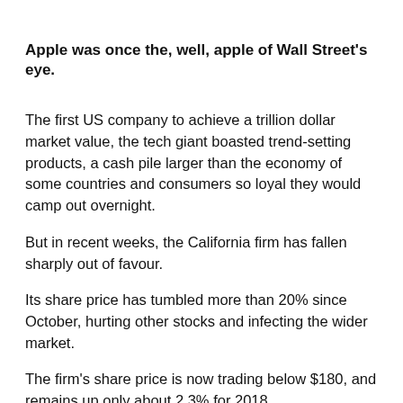Apple was once the, well, apple of Wall Street's eye.
The first US company to achieve a trillion dollar market value, the tech giant boasted trend-setting products, a cash pile larger than the economy of some countries and consumers so loyal they would camp out overnight.
But in recent weeks, the California firm has fallen sharply out of favour.
Its share price has tumbled more than 20% since October, hurting other stocks and infecting the wider market.
The firm's share price is now trading below $180, and remains up only about 2.3% for 2018.
So what's taken the shine off Apple?